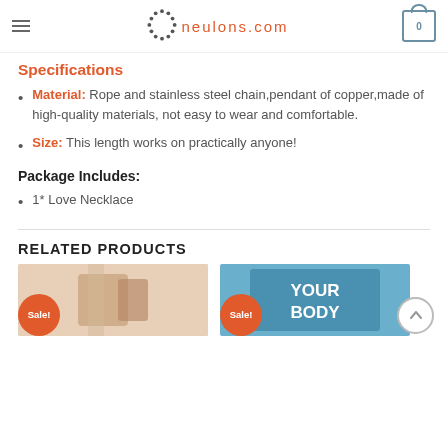neulons.com
Specifications
Material: Rope and stainless steel chain,pendant of copper,made of high-quality materials, not easy to wear and comfortable.
Size: This length works on practically anyone!
Package Includes:
1* Love Necklace
RELATED PRODUCTS
[Figure (photo): Product thumbnail with Sale! badge]
[Figure (photo): Book product thumbnail showing YOUR BODY text with Sale! badge]